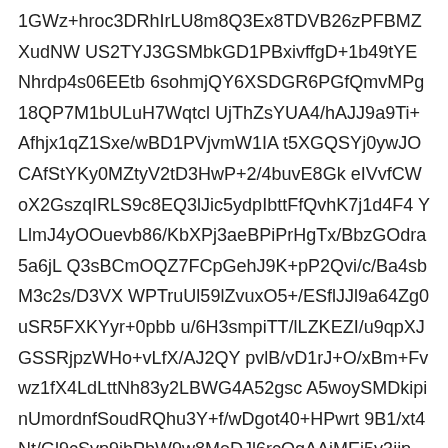1GWz+hroc3DRhIrLU8m8Q3Ex8TDVB26zPFBMZXudNWUS2TYJ3GSMbkGD1PBxivffgD+1b49tYENhrdp4s06EEtb6sohmjQY6XSDGR6PGfQmvMPg18QP7M1bULuH7WqtclUjThZsYUA4/hAJJ9a9Ti+Afhjx1qZ1Sxe/wBD1PVjvmW1IAt5XGQSYj0ywJOCAfStYKy0MZtyV2tD3HwP+2/4buvE8GkelvvfCWoX2GszqIRLS9c8EQ3lJic5ydpIbttFfQvhK7j1d4F4YLlmJ4yOOuevb86/KbXPj3aeBPiPrHgTx/BbzGOdra5a6jLQ3sBCmOQZ7FCpGehJ9K+pP2Qvi/c/Ba4sbM3c2s/D3VXWPTruUl59lZvuxO5+/ESflJJl9a64Zg0uSR5FXKYyr+0pbbu/6H3smpiTT/lLZKEZI/u9qpXJGSSRjpzWHo+vLfX/AJ2QYpvlB/vD1rJ+O/xBm+Fvwz1fX4LdLttNh83y2LBWG4A52gscA5woySMDkipinUmordnfSoudRQhu3Y+f/wDgot40+HPwrt9B1/xt4Nt/Gl9cSvp9jbPbW9w8MeDJl6rcOqAAiMEj5v3ijpmirHxw160+O/wl8O61d+CfDHie4kvP3una/YJexWEgEqSEJluUcMmOQGAJB5FFdn9l1W3fS2n3H1GDyxxp8lZ2km07vsz6vsrn7TbRscbIGGBPINeQftVaHNrFhoiW+I6hq0320